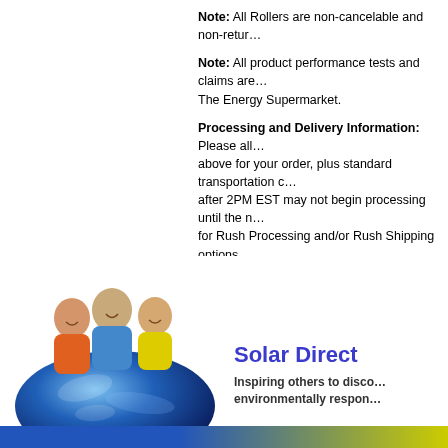Note: All Rollers are non-cancelable and non-retur…
Note: All product performance tests and claims are… The Energy Supermarket.
Processing and Delivery Information: Please all… above for your order, plus standard transportation c… after 2PM EST may not begin processing until the n… for Rush Processing and/or Rush Shipping options.
[Figure (screenshot): A Reviews tab/button on a light gray bar]
[Figure (photo): Three smiling children sitting on top of a globe (Earth). Below them is the Solar Direct logo and tagline 'Inspiring others to disco… environmentally respon…']
Solar Direct
Inspiring others to disco… environmentally respon…